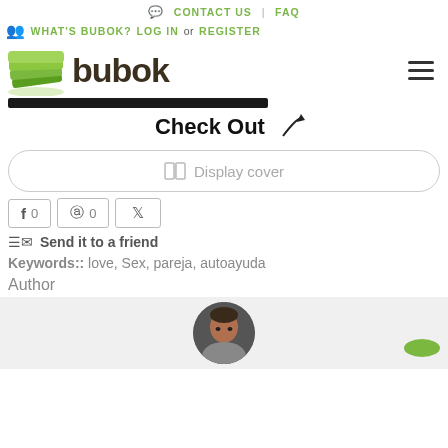CONTACT US | FAQ
WHAT'S BUBOK? LOG IN or REGISTER
[Figure (logo): Bubok logo with green stacked pages icon and dark brown 'bubok' text]
Check Out
Display cover
[Figure (infographic): Social sharing buttons: Facebook (0), Pinterest (0), Twitter]
Send it to a friend
Keywords:: love, Sex, pareja, autoayuda
Author
[Figure (photo): Author profile photo circle showing a man's face, partially cropped, on gray background. Small green bubok logo badge in bottom right.]